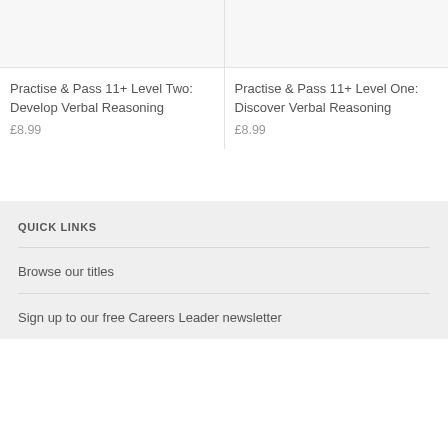[Figure (other): Product image placeholder for Practise & Pass 11+ Level Two book]
Practise & Pass 11+ Level Two: Develop Verbal Reasoning
£8.99
[Figure (other): Product image placeholder for Practise & Pass 11+ Level One book]
Practise & Pass 11+ Level One: Discover Verbal Reasoning
£8.99
QUICK LINKS
Browse our titles
Sign up to our free Careers Leader newsletter